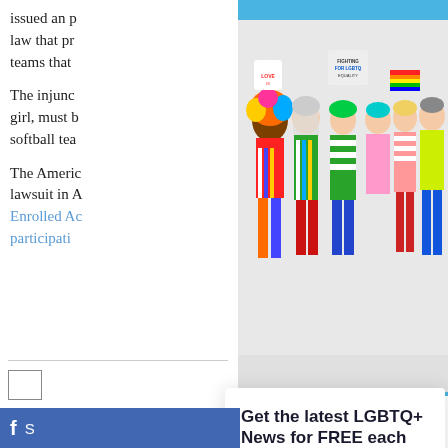issued an p... law that pr... teams that...
[Figure (photo): Group of people in colorful LGBTQ+ pride outfits holding signs and rainbow flags, smiling and posing]
The injunc... girl, must b... softball tea...
The Americ... lawsuit in A... Enrolled Ac... participati...
[Figure (infographic): Newsletter signup popup: 'Get the latest LGBTQ+ News for FREE each week. Every Thursday direct to your inbox.' with email input field and 'Yes! I want FREE LGBTQ News' button]
f S...